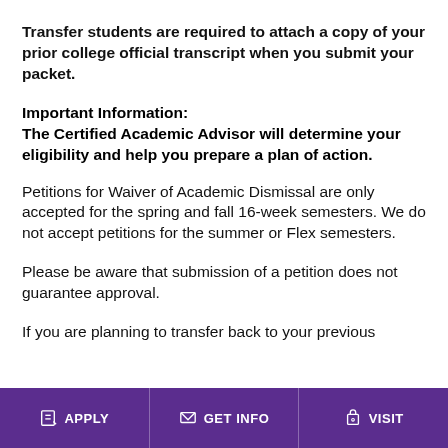Transfer students are required to attach a copy of your prior college official transcript when you submit your packet.
Important Information:
The Certified Academic Advisor will determine your eligibility and help you prepare a plan of action.
Petitions for Waiver of Academic Dismissal are only accepted for the spring and fall 16-week semesters. We do not accept petitions for the summer or Flex semesters.
Please be aware that submission of a petition does not guarantee approval.
If you are planning to transfer back to your previous
APPLY   GET INFO   VISIT